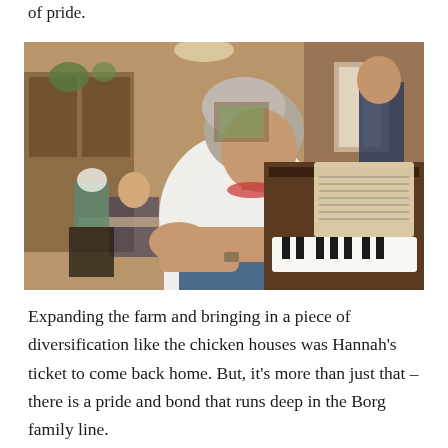of pride.
[Figure (photo): An elderly woman playing piano in a wood-paneled room, viewed from the side. She is wearing a white t-shirt and jeans. In the background, a man stands watching, and another person sits at a table.]
Expanding the farm and bringing in a piece of diversification like the chicken houses was Hannah's ticket to come back home. But, it's more than just that – there is a pride and bond that runs deep in the Borg family line.